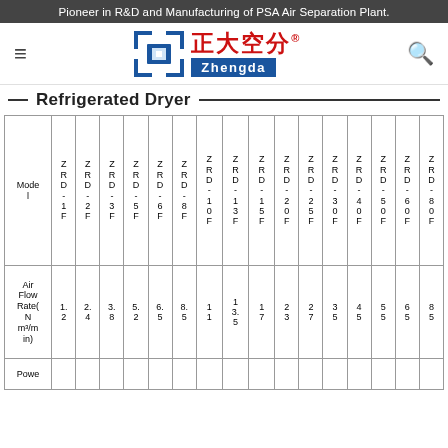Pioneer in R&D and Manufacturing of PSA Air Separation Plant.
[Figure (logo): Zhengda logo with Chinese characters 正大空分 and blue square bracket icon]
Refrigerated Dryer
| Mode l | ZRD-1F | ZRD-2F | ZRD-3F | ZRD-5F | ZRD-6F | ZRD-8F | ZRD-10F | ZRD-13F | ZRD-15F | ZRD-20F | ZRD-25F | ZRD-30F | ZRD-40F | ZRD-50F | ZRD-60F | ZRD-80F |
| --- | --- | --- | --- | --- | --- | --- | --- | --- | --- | --- | --- | --- | --- | --- | --- | --- |
| Air Flow Rate(N m³/min) | 1.2 | 2.4 | 3.8 | 5.2 | 6.5 | 8.5 | 11 | 13.5 | 17 | 23 | 27 | 35 | 45 | 55 | 65 | 85 |
| Powe |  |  |  |  |  |  |  |  |  |  |  |  |  |  |  |  |